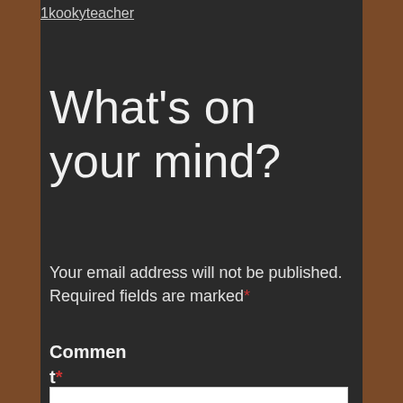1kookyteacher
What's on your mind?
Your email address will not be published. Required fields are marked*
Comment*